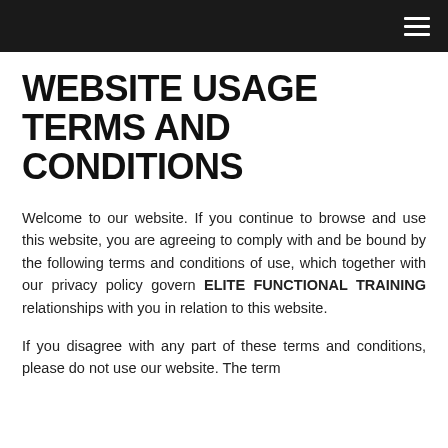[navigation bar with hamburger menu]
WEBSITE USAGE TERMS AND CONDITIONS
Welcome to our website. If you continue to browse and use this website, you are agreeing to comply with and be bound by the following terms and conditions of use, which together with our privacy policy govern ELITE FUNCTIONAL TRAINING relationships with you in relation to this website.
If you disagree with any part of these terms and conditions, please do not use our website. The term